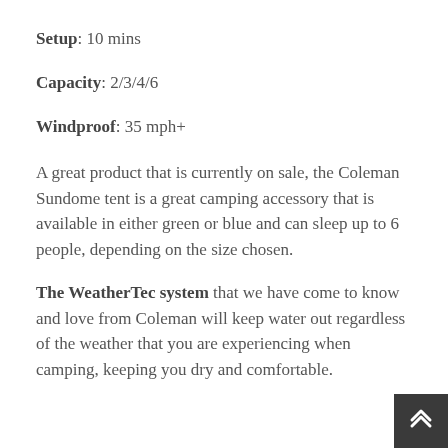Setup: 10 mins
Capacity: 2/3/4/6
Windproof: 35 mph+
A great product that is currently on sale, the Coleman Sundome tent is a great camping accessory that is available in either green or blue and can sleep up to 6 people, depending on the size chosen.
The WeatherTec system that we have come to know and love from Coleman will keep water out regardless of the weather that you are experiencing when camping, keeping you dry and comfortable.